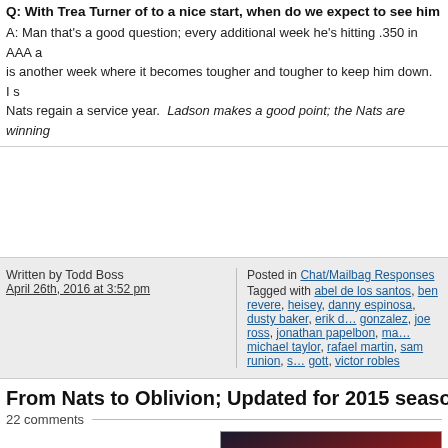Q: With Trea Turner of to a nice start, when do we expect to see him in th…
A: Man that's a good question; every additional week he's hitting .350 in AAA a… is another week where it becomes tougher and tougher to keep him down. I s… Nats regain a service year. Ladson makes a good point; the Nats are winning…
Written by Todd Boss
April 26th, 2016 at 3:52 pm
Posted in Chat/Mailbag Responses
Tagged with abel de los santos, ben revere, heisey, danny espinosa, dusty baker, erik d… gonzalez, joe ross, jonathan papelbon, ma… michael taylor, rafael martin, sam runion, s… gott, victor robles
From Nats to Oblivion; Updated for 2015 season…
22 comments
[Figure (photo): A baseball player in a red uniform reaching upward, photographed at a stadium]